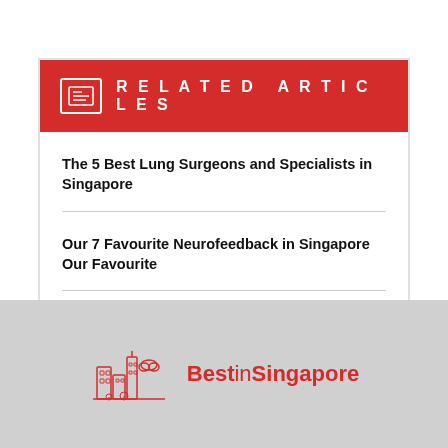RELATED ARTICLES
The 5 Best Lung Surgeons and Specialists in Singapore
Our 7 Favourite Neurofeedback in Singapore Our Favourite
Our 12 Favourite IVF Clinics in Singapore
[Figure (logo): Best in Singapore logo with red city skyline illustration and red text reading 'Best in Singapore']